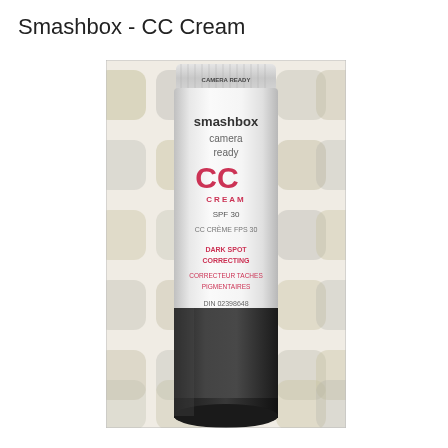Smashbox - CC Cream
[Figure (photo): Photograph of a Smashbox Camera Ready CC Cream SPF 30 tube with a white body and black cap, showing text: smashbox camera ready CC CREAM SPF 30 CC CREME FPS 30 DARK SPOT CORRECTING CORRECTEUR TACHES PIGMENTAIRES DIN 02398648. Tube is set against a white background with a decorative pattern of muted rounded shapes.]